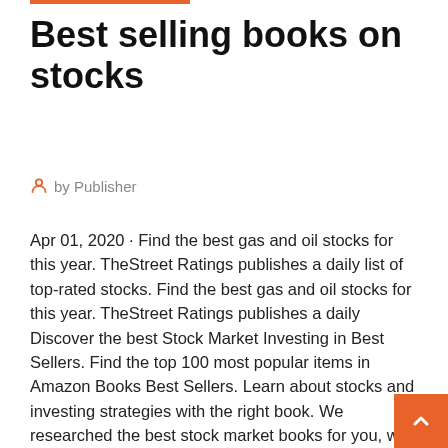Best selling books on stocks
by Publisher
Apr 01, 2020 · Find the best gas and oil stocks for this year. TheStreet Ratings publishes a daily list of top-rated stocks. Find the best gas and oil stocks for this year. TheStreet Ratings publishes a daily
Discover the best Stock Market Investing in Best Sellers. Find the top 100 most popular items in Amazon Books Best Sellers. Learn about stocks and investing strategies with the right book. We researched the best stock market books for you, with options for novices and veterans. The last chapter is one of the BEST chapters in any book I have EVER read. TRADER PSYCHOLOGY. This will will help you. #stocks #investing – from Twitter . Legendary former manager of the Magellan Fund, Peter Lynch has written several top stock market investing books, including One Up on Wall Street and Beating...